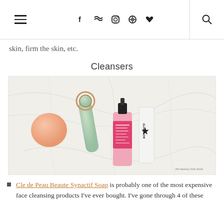Navigation header with hamburger menu, social icons (f, twitter, instagram, pinterest, heart), divider, and search icon
skin, firm the skin, etc.
Cleansers
[Figure (photo): Flat lay photo of skincare/cleansing products on a white marble surface: a round peach-colored soap, a jade facial cleansing brush with rose gold ring, a pink bottle of cleanser with black pump cap, and a white GLAMGLOW tube.]
Cle de Peau Beaute Synactif Soap is probably one of the most expensive face cleansing products I've ever bought. I've gone through 4 of these